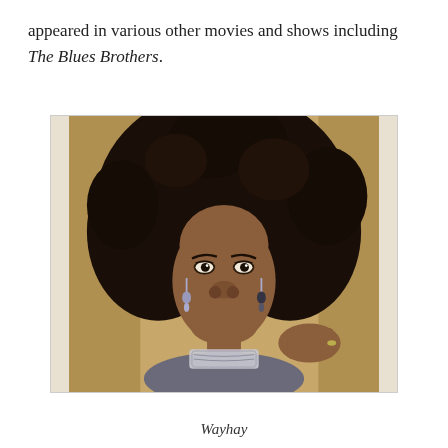appeared in various other movies and shows including The Blues Brothers.
[Figure (photo): Portrait photo of a Black woman with a large natural afro hairstyle, smiling, wearing a silver lace choker necklace and chandelier earrings, posing with one hand raised near her face.]
Wayhay